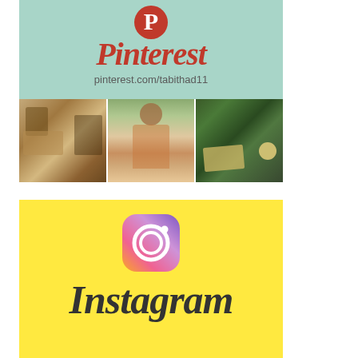[Figure (logo): Pinterest logo banner with mint/teal background, Pinterest script logo in red, URL pinterest.com/tabithad11, and a strip of three photos below showing a coffee/art desk scene, a woman smiling outdoors, and an outdoor table with book and flowers]
[Figure (logo): Instagram logo banner with bright yellow background, Instagram camera icon (gradient purple to pink to orange), and Instagram script text in dark charcoal]